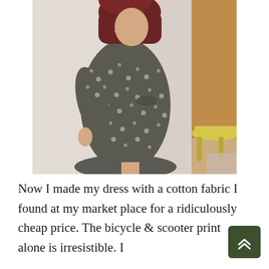[Figure (photo): A woman wearing a grey/dark floral patterned dress with 3/4 sleeves, shown from behind/side angle. She has dark reddish-brown hair. The background shows a white wall and a yellow stool. The dress has a gathered waist.]
Now I made my dress with a cotton fabric I found at my market place for a ridiculously cheap price. The bicycle & scooter print alone is irresistible. I